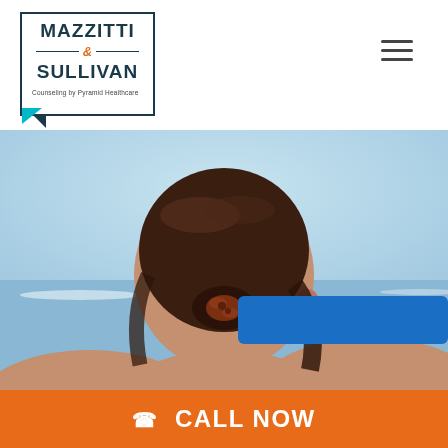[Figure (logo): Mazzitti & Sullivan Counseling by Pyramid Healthcare logo in a speech-bubble box]
[Figure (other): Hamburger menu icon (three horizontal lines) in top right]
[Figure (photo): Back of a woman's head with dark hair in a bun held by a decorative clip, looking out over a blurred ocean/beach background]
CALL NOW